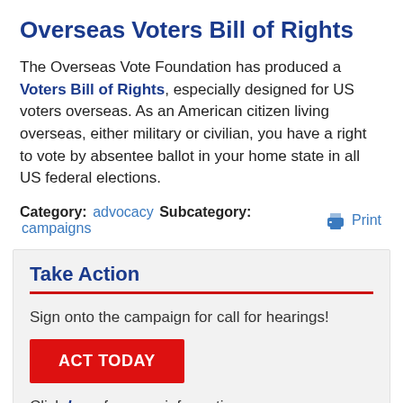Overseas Voters Bill of Rights
The Overseas Vote Foundation has produced a Voters Bill of Rights, especially designed for US voters overseas. As an American citizen living overseas, either military or civilian, you have a right to vote by absentee ballot in your home state in all US federal elections.
Category: advocacy  Subcategory: campaigns  Print
Take Action
Sign onto the campaign for call for hearings!
ACT TODAY
Click here for more information.